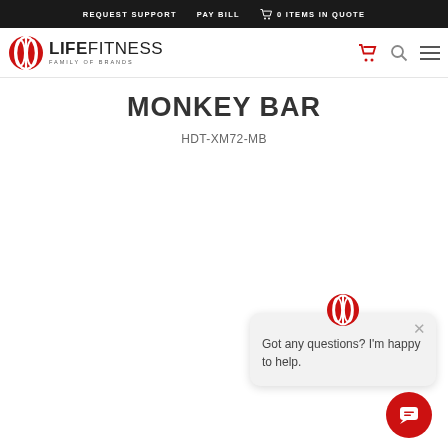REQUEST SUPPORT   PAY BILL   0 ITEMS IN QUOTE
[Figure (logo): Life Fitness Family of Brands logo with red coffee bean icon and bold text]
MONKEY BAR
HDT-XM72-MB
[Figure (other): Chat popup widget with Life Fitness logo icon, close button (×), and text: Got any questions? I'm happy to help.]
Got any questions? I'm happy to help.